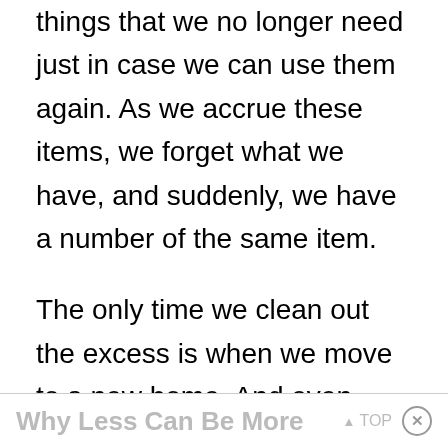things that we no longer need just in case we can use them again. As we accrue these items, we forget what we have, and suddenly, we have a number of the same item.
The only time we clean out the excess is when we move to a new home. And even then it may take multiple moves to reduce the surplus.
Why Less Can Be More